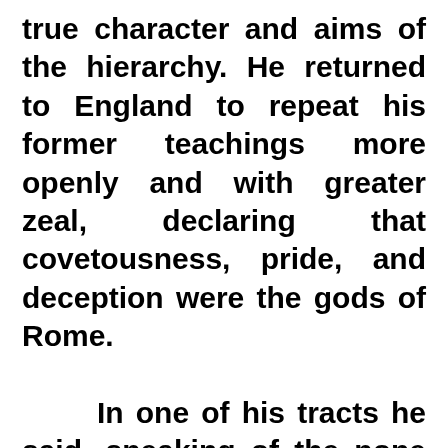true character and aims of the hierarchy. He returned to England to repeat his former teachings more openly and with greater zeal, declaring that covetousness, pride, and deception were the gods of Rome.

    In one of his tracts he said, speaking of the pope and his